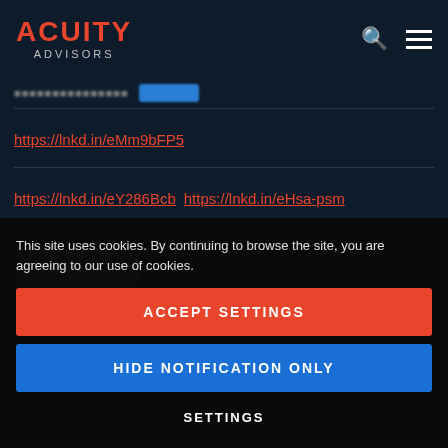ACUITY ADVISORS
https://lnkd.in/eMm9bFP5
https://lnkd.in/eY286Bcb https://lnkd.in/eHsa-psm
This site uses cookies. By continuing to browse the site, you are agreeing to our use of cookies.
ACCEPT SETTINGS
HIDE NOTIFICATION ONLY
SETTINGS